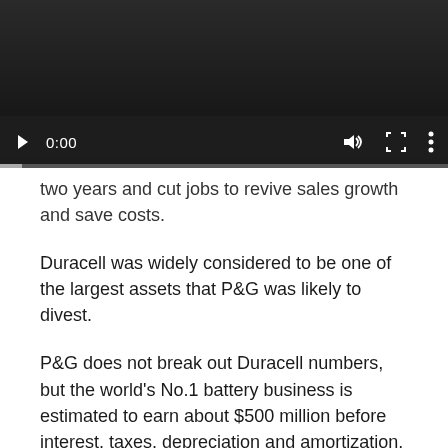[Figure (screenshot): Embedded video player with dark background showing controls: play button, timestamp 0:00, volume icon, fullscreen icon, and options menu. Progress bar at bottom.]
two years and cut jobs to revive sales growth and save costs.
Duracell was widely considered to be one of the largest assets that P&G was likely to divest.
P&G does not break out Duracell numbers, but the world's No.1 battery business is estimated to earn about $500 million before interest, taxes, depreciation and amortization.
The household products maker also said on Friday that it had agreed to sell its interest in a China-based battery joint